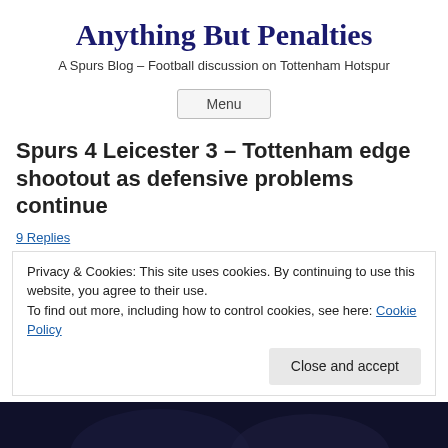Anything But Penalties
A Spurs Blog – Football discussion on Tottenham Hotspur
Menu
Spurs 4 Leicester 3 – Tottenham edge shootout as defensive problems continue
9 Replies
Privacy & Cookies: This site uses cookies. By continuing to use this website, you agree to their use.
To find out more, including how to control cookies, see here: Cookie Policy
Close and accept
[Figure (photo): Dark image at bottom of page, appears to be a football/soccer related photo]